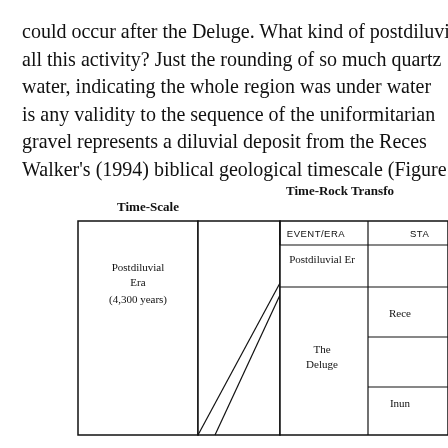could occur after the Deluge. What kind of postdiluvia all this activity? Just the rounding of so much quartz water, indicating the whole region was under water is any validity to the sequence of the uniformitarian gravel represents a diluvial deposit from the Reces Walker's (1994) biblical geological timescale (Figure 4
[Figure (flowchart): Partial view of Walker's (1994) biblical geological timescale diagram showing Time-Scale on left with 'Postdiluvial Era (4,300 years)' box and arrow pointing right to 'Time-Rock Transfo...' section with EVENT/ERA column showing 'Postdiluvial Era', 'The Deluge', and partially visible 'Rece...' and 'Inun...' entries under STA... column]